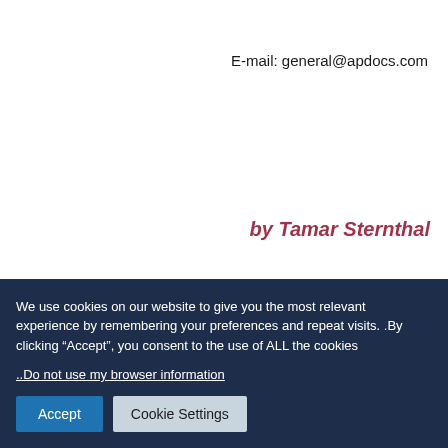E-mail: general@apdocs.com
by Tamar Sternthal
Review can also be found
We use cookies on our website to give you the most relevant experience by remembering your preferences and repeat visits. .By clicking “Accept”, you consent to the use of ALL the cookies
..Do not use my browser information
Accept
Cookie Settings